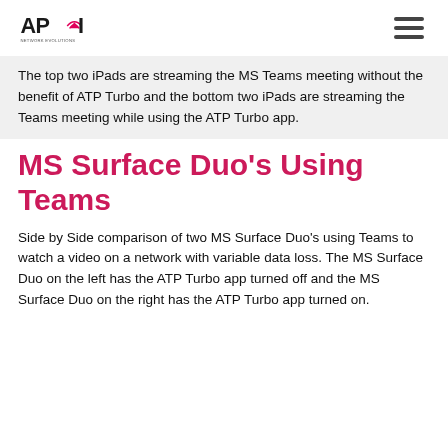APOI logo and hamburger menu
The top two iPads are streaming the MS Teams meeting without the benefit of ATP Turbo and the bottom two iPads are streaming the Teams meeting while using the ATP Turbo app.
MS Surface Duo’s Using Teams
Side by Side comparison of two MS Surface Duo’s using Teams to watch a video on a network with variable data loss. The MS Surface Duo on the left has the ATP Turbo app turned off and the MS Surface Duo on the right has the ATP Turbo app turned on.